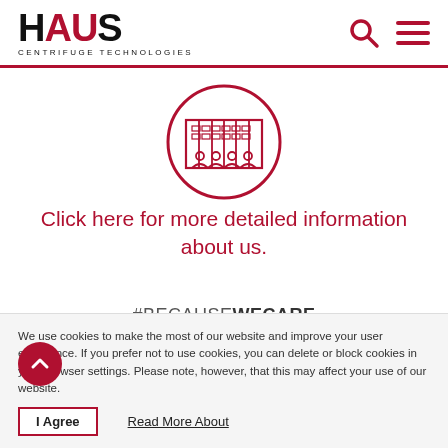[Figure (logo): HAUS Centrifuge Technologies logo with red US letters]
[Figure (illustration): Circular icon with building and people silhouettes in red outline style]
Click here for more detailed information about us.
#BECAUSEWECARE
We use cookies to make the most of our website and improve your user experience. If you prefer not to use cookies, you can delete or block cookies in your browser settings. Please note, however, that this may affect your use of our website.